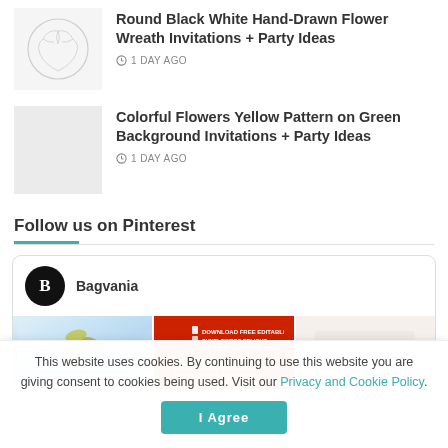[Figure (illustration): Thumbnail image with floral wreath line drawing on white background]
Round Black White Hand-Drawn Flower Wreath Invitations + Party Ideas
1 DAY AGO
[Figure (photo): Light grey placeholder thumbnail]
Colorful Flowers Yellow Pattern on Green Background Invitations + Party Ideas
1 DAY AGO
Follow us on Pinterest
Bagvania
[Figure (screenshot): Pinterest board preview showing three pin images: floral/botanical design, red birthday invitation template banner, and a light background card]
This website uses cookies. By continuing to use this website you are giving consent to cookies being used. Visit our Privacy and Cookie Policy.
I Agree